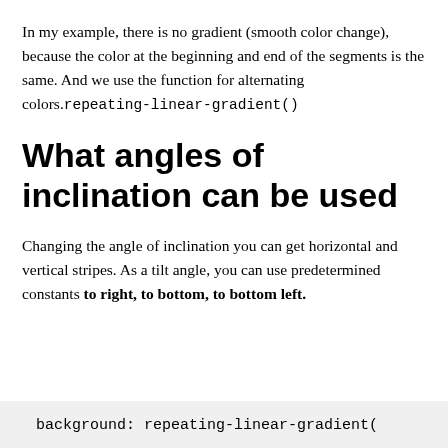In my example, there is no gradient (smooth color change), because the color at the beginning and end of the segments is the same. And we use the function for alternating colors.repeating-linear-gradient()
What angles of inclination can be used
Changing the angle of inclination you can get horizontal and vertical stripes. As a tilt angle, you can use predetermined constants to right, to bottom, to bottom left.
background: repeating-linear-gradient(